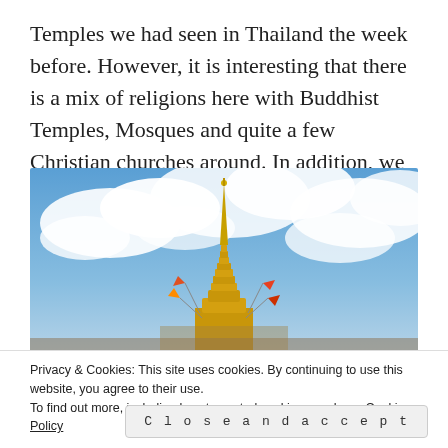Temples we had seen in Thailand the week before. However, it is interesting that there is a mix of religions here with Buddhist Temples, Mosques and quite a few Christian churches around. In addition, we learned that the local Batak people hold animist beliefs.
[Figure (photo): A golden Buddhist stupa/pagoda photographed from below against a bright blue sky with white clouds. Small colorful flags are visible near the base of the spire.]
Privacy & Cookies: This site uses cookies. By continuing to use this website, you agree to their use.
To find out more, including how to control cookies, see here: Cookie Policy
Close and accept